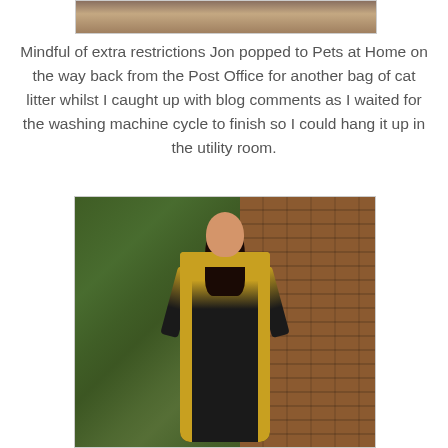[Figure (photo): Top portion of an outdoor photo, partially visible at the top of the page]
Mindful of extra restrictions Jon popped to Pets at Home on the way back from the Post Office for another bag of cat litter whilst I caught up with blog comments as I waited for the washing machine cycle to finish so I could hang it up in the utility room.
[Figure (photo): Woman wearing a long black and gold patterned kaftan/dress, standing in front of an ivy-covered brick wall, hands on hips, long dark hair]